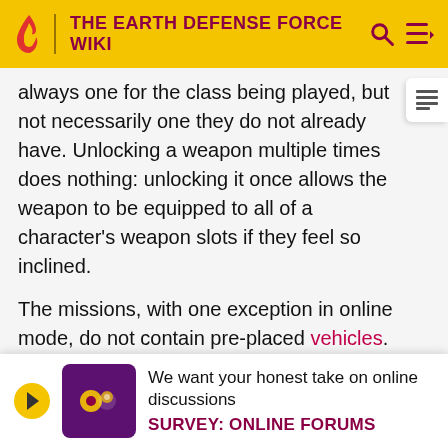THE EARTH DEFENSE FORCE WIKI
always one for the class being played, but not necessarily one they do not already have. Unlocking a weapon multiple times does nothing: unlocking it once allows the weapon to be equipped to all of a character's weapon slots if they feel so inclined.
The missions, with one exception in online mode, do not contain pre-placed vehicles. Only the Air Raider is able to equip vehicle drops in a special reserved slot, though a Ranger can drive one summoned by an Air Raider and the other two classes can use secondary positions if the vehicle... strike... them...
[Figure (other): Survey advertisement banner: 'We want your honest take on online discussions' with SURVEY: ONLINE FORUMS label and a purple graphic icon]